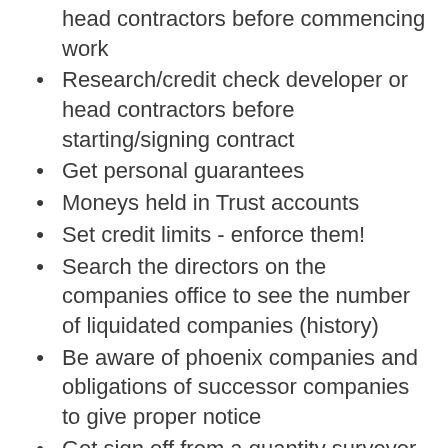head contractors before commencing work
Research/credit check developer or head contractors before starting/signing contract
Get personal guarantees
Moneys held in Trust accounts
Set credit limits - enforce them!
Search the directors on the companies office to see the number of liquidated companies (history)
Be aware of phoenix companies and obligations of successor companies to give proper notice
Get sign off from a quantity surveyor, architect or engineer before paying invoices/completing variations